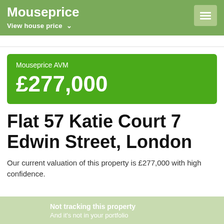Mouseprice
View house price
Mouseprice AVM
£277,000
Flat 57 Katie Court 7 Edwin Street, London
Our current valuation of this property is £277,000 with high confidence.
Not tracking this property
And it's not in your portfolio